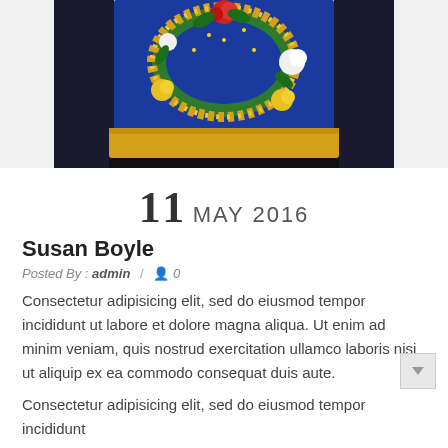[Figure (photo): Photo of a person wearing a blue ugly Christmas sweater with colorful pom-poms and gold tinsel wreath decoration, gold waistband, cropped view showing torso only.]
11 MAY 2016
Susan Boyle
Posted By : admin  /  0
Consectetur adipisicing elit, sed do eiusmod tempor incididunt ut labore et dolore magna aliqua. Ut enim ad minim veniam, quis nostrud exercitation ullamco laboris nisi ut aliquip ex ea commodo consequat duis aute.
Consectetur adipisicing elit, sed do eiusmod tempor incididunt ut labore et dolore magna aliqua. Ut enim ad minim veniam, quis nostrud exercitation ullamco laboris nisi ut aliquip ex ea commodo consequat duis aute.